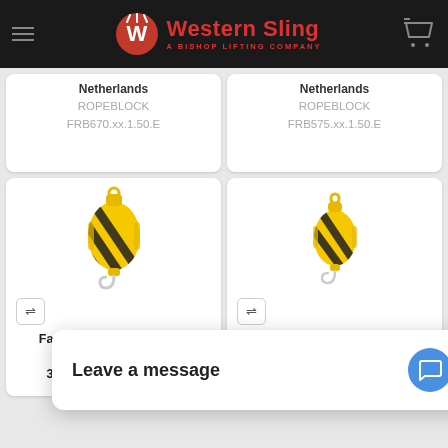Western Sling — A Bishop Lifting Company
Netherlands
ROPEBLOCK
FRB670.xx.1.50.E
Netherlands
ROPEBLOCK
FRB575.xx.1.50.E
[Figure (photo): Yellow and black striped Fast Reeve crane block with hook]
[Figure (photo): Yellow and black striped Fast Reeve crane block with hook (smaller)]
Fast Reeve Crane Block | 1 Sheave | WLL 55T | 3/4"-1-1/8" Wire Rope |
Fast Reeve Crane Block | 1 Sheave | WLL 55T | 7/8-1-1/4"" Wire Rope |
Leave a message